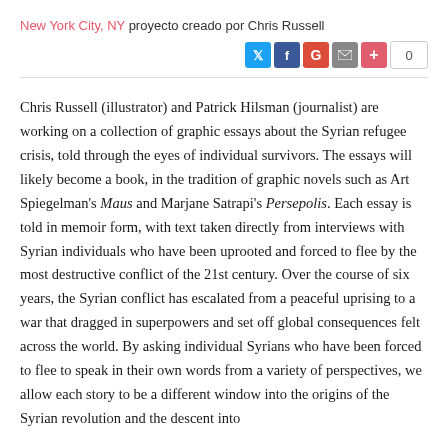New York City, NY proyecto creado por Chris Russell
Chris Russell (illustrator) and Patrick Hilsman (journalist) are working on a collection of graphic essays about the Syrian refugee crisis, told through the eyes of individual survivors. The essays will likely become a book, in the tradition of graphic novels such as Art Spiegelman's Maus and Marjane Satrapi's Persepolis. Each essay is told in memoir form, with text taken directly from interviews with Syrian individuals who have been uprooted and forced to flee by the most destructive conflict of the 21st century. Over the course of six years, the Syrian conflict has escalated from a peaceful uprising to a war that dragged in superpowers and set off global consequences felt across the world. By asking individual Syrians who have been forced to flee to speak in their own words from a variety of perspectives, we allow each story to be a different window into the origins of the Syrian revolution and the descent into